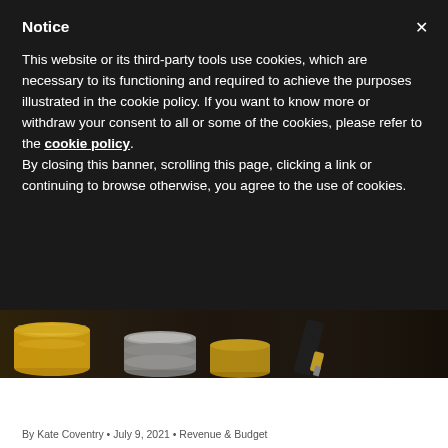Notice
This website or its third-party tools use cookies, which are necessary to its functioning and required to achieve the purposes illustrated in the cookie policy. If you want to know more or withdraw your consent to all or some of the cookies, please refer to the cookie policy. By closing this banner, scrolling this page, clicking a link or continuing to browse otherwise, you agree to the use of cookies.
[Figure (photo): Close-up photograph of stacked gold and silver coins with a pen in the background, dark background]
DC Budget Markups: Council Boosts Funding for Some Services but Substantial Shortcomings Remain
By Kate Coventry • July 9, 2021 • Revenue & Budget
Last week, DC Council committees voted on changes—